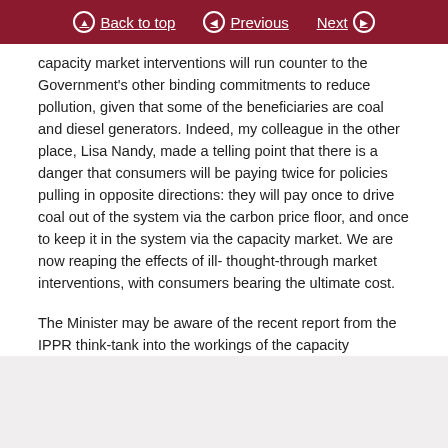Back to top  Previous  Next
capacity market interventions will run counter to the Government's other binding commitments to reduce pollution, given that some of the beneficiaries are coal and diesel generators. Indeed, my colleague in the other place, Lisa Nandy, made a telling point that there is a danger that consumers will be paying twice for policies pulling in opposite directions: they will pay once to drive coal out of the system via the carbon price floor, and once to keep it in the system via the capacity market. We are now reaping the effects of ill- thought-through market interventions, with consumers bearing the ultimate cost.
The Minister may be aware of the recent report from the IPPR think-tank into the workings of the capacity